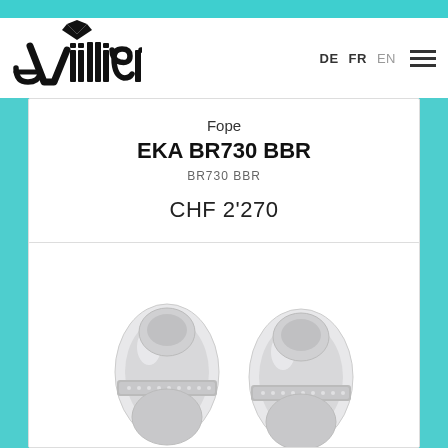[Figure (logo): Villiger jeweler logo in black with stylized diamond/V mark above the word 'Villiger']
DE  FR  EN
Fope
EKA BR730 BBR
BR730 BBR
CHF 2'270
[Figure (photo): Silver jewelry pieces - two matching bracelet/ring elements in white gold with diamond pavé accents, shown partially cropped at bottom of page]